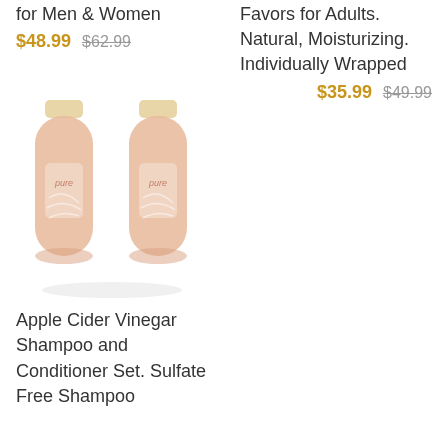for Men & Women
$48.99  $62.99
Favors for Adults. Natural, Moisturizing. Individually Wrapped
$35.99  $49.99
[Figure (photo): Two pink/peach shampoo and conditioner bottles with gold caps labeled 'pure', side by side]
Apple Cider Vinegar Shampoo and Conditioner Set. Sulfate Free Shampoo